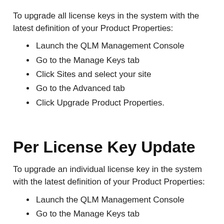To upgrade all license keys in the system with the latest definition of your Product Properties:
Launch the QLM Management Console
Go to the Manage Keys tab
Click Sites and select your site
Go to the Advanced tab
Click Upgrade Product Properties.
Per License Key Update
To upgrade an individual license key in the system with the latest definition of your Product Properties:
Launch the QLM Management Console
Go to the Manage Keys tab
Locate the license key